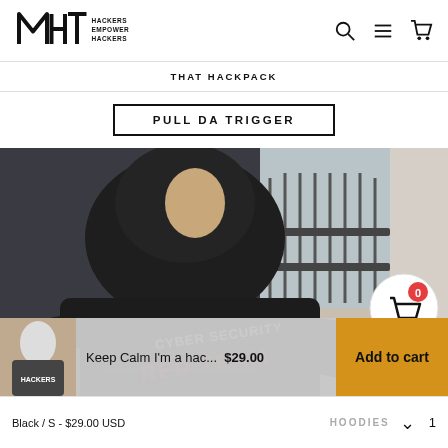[Figure (logo): MHT logo with text HACKERS EMPOWER HACKERS]
THAT HACKPACK
PULL DA TRIGGER
[Figure (photo): Person wearing a black hoodie with CYBER SECURITY RED TEAM text on the front]
Keep Calm I'm a hac...   $29.00   Add to cart
Black / S - $29.00 USD   HOODIES   1